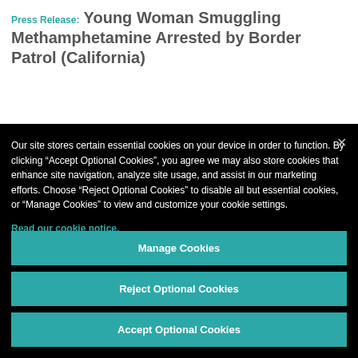Press Release: Young Woman Smuggling Methamphetamine Arrested by Border Patrol (California)
Our site stores certain essential cookies on your device in order to function. By clicking “Accept Optional Cookies”, you agree we may also store cookies that enhance site navigation, analyze site usage, and assist in our marketing efforts. Choose “Reject Optional Cookies” to disable all but essential cookies, or “Manage Cookies” to view and customize your cookie settings.
Read our cookie notice.
Manage Cookies
Reject Optional Cookies
Accept Optional Cookies